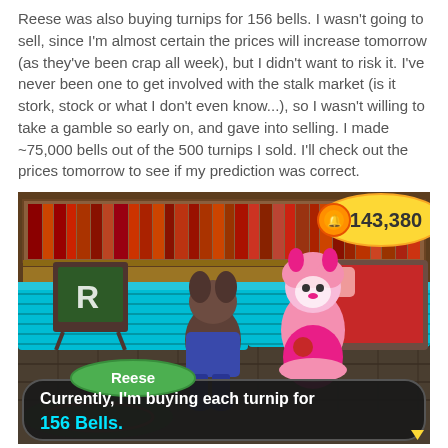Reese was also buying turnips for 156 bells. I wasn't going to sell, since I'm almost certain the prices will increase tomorrow (as they've been crap all week), but I didn't want to risk it. I've never been one to get involved with the stalk market (is it stork, stock or what I don't even know...), so I wasn't willing to take a gamble so early on, and gave into selling. I made ~75,000 bells out of the 500 turnips I sold. I'll check out the prices tomorrow to see if my prediction was correct.
[Figure (screenshot): Animal Crossing game screenshot showing player character and Reese (pink alpaca NPC) in a shop interior. A dialog box reads: 'Currently, I'm buying each turnip for 156 Bells.' (with '156 Bells.' in cyan). A green oval label says 'Reese'. A gold coin badge in the top right shows '143,380'.]